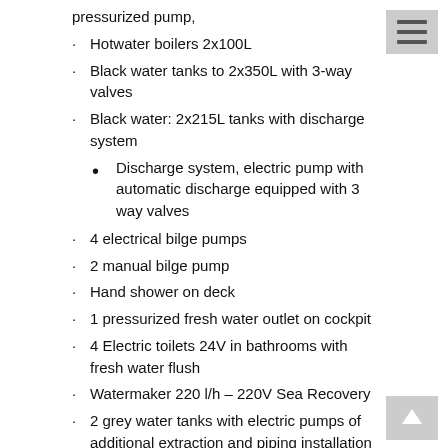pressurized pump,
Hotwater boilers 2x100L
Black water tanks to 2x350L with 3-way valves
Black water: 2x215L tanks with discharge system
Discharge system, electric pump with automatic discharge equipped with 3 way valves
4 electrical bilge pumps
2 manual bilge pump
Hand shower on deck
1 pressurized fresh water outlet on cockpit
4 Electric toilets 24V in bathrooms with fresh water flush
Watermaker 220 l/h – 220V Sea Recovery
2 grey water tanks with electric pumps of additional extraction and piping installation
Fresh water inlet, shore connection
Fresh water outlet for washing the deck